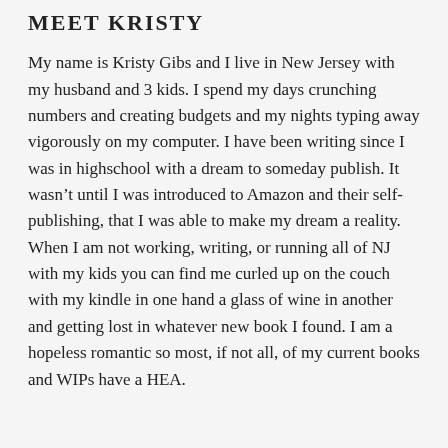MEET KRISTY
My name is Kristy Gibs and I live in New Jersey with my husband and 3 kids. I spend my days crunching numbers and creating budgets and my nights typing away vigorously on my computer. I have been writing since I was in highschool with a dream to someday publish. It wasn't until I was introduced to Amazon and their self-publishing, that I was able to make my dream a reality. When I am not working, writing, or running all of NJ with my kids you can find me curled up on the couch with my kindle in one hand a glass of wine in another and getting lost in whatever new book I found. I am a hopeless romantic so most, if not all, of my current books and WIPs have a HEA.